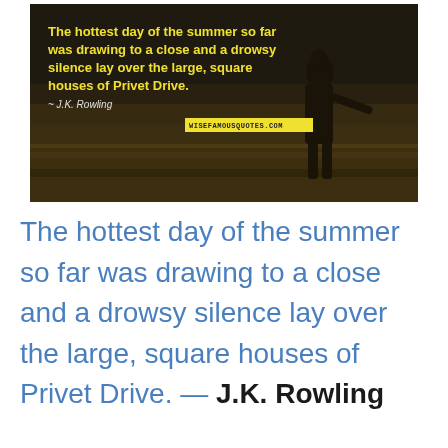[Figure (photo): Dark moody photo of a person standing in a field, overlaid with a yellow bold quote text: 'The hottest day of the summer so far was drawing to a close and a drowsy silence lay over the large, square houses of Privet Drive.' with attribution '~ J.K. Rowling' and a yellow watermark label 'wisefamousquotes.com']
The hottest day of the summer so far was drawing to a close and a drowsy silence lay over the large, square houses of Privet Drive. — J.K. Rowling